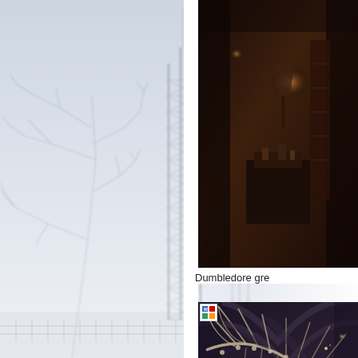[Figure (photo): Large faded/misty photo of a tall steel lattice tower structure with bare tree branches in foreground, taken in winter fog. Appears to be an amusement park or theme park ride structure. A fence is visible at the base.]
[Figure (photo): Dark interior photo showing what appears to be Dumbledore's office set from Harry Potter, with warm lamp lighting, bookshelves, and furniture visible in a dimly lit stone room.]
Dumbledore gre
[Figure (photo): Photo of a large dragon skeleton or dragon prop displayed in what appears to be a gothic cathedral or hall with vaulted stone arches. The skeleton has large wing bones spread out. A small Wikipedia logo icon is visible in the top left corner of the image.]